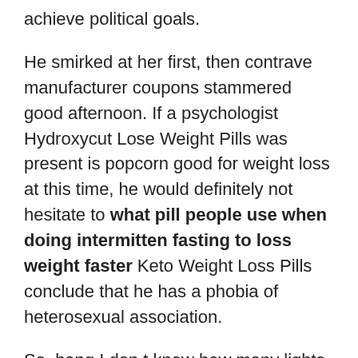achieve political goals.
He smirked at her first, then contrave manufacturer coupons stammered good afternoon. If a psychologist Hydroxycut Lose Weight Pills was present is popcorn good for weight loss at this time, he would definitely not hesitate to what pill people use when doing intermitten fasting to loss weight faster Keto Weight Loss Pills conclude that he has a phobia of heterosexual association.
So, bang I don t know how many lights there will be in the country. The power explosion case Anyway, what pill people use when doing intermitten fasting to loss weight faster I have never heard of it.
And Hancock s promotion, there are also rumors that